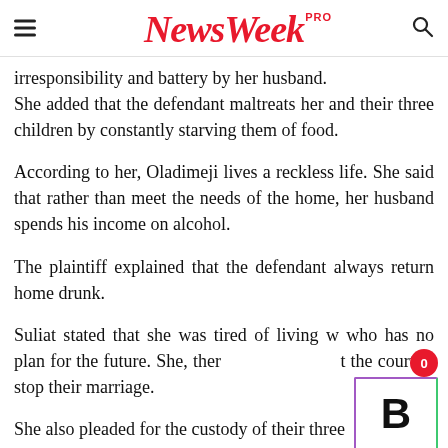NewsWeek PRO
irresponsibility and battery by her husband. She added that the defendant maltreats her and their three children by constantly starving them of food.
According to her, Oladimeji lives a reckless life. She said that rather than meet the needs of the home, her husband spends his income on alcohol.
The plaintiff explained that the defendant always return home drunk.
Suliat stated that she was tired of living w who has no plan for the future. She, ther t the court to stop their marriage.
She also pleaded for the custody of their three